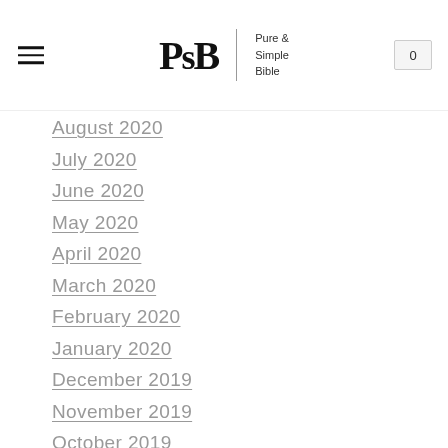Pure & Simple Bible — Navigation header with hamburger menu and cart button showing 0
August 2020
July 2020
June 2020
May 2020
April 2020
March 2020
February 2020
January 2020
December 2019
November 2019
October 2019
September 2019
August 2019
July 2019
June 2019
April 2019
March 2019